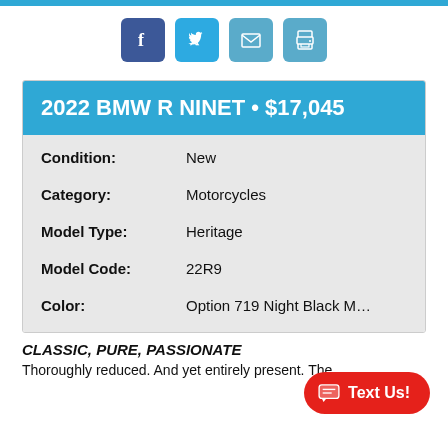[Figure (other): Social sharing icons: Facebook, Twitter, Email, Print]
| 2022 BMW R NINET • $17,045 |
| --- |
| Condition: | New |
| Category: | Motorcycles |
| Model Type: | Heritage |
| Model Code: | 22R9 |
| Color: | Option 719 Night Black M… |
CLASSIC, PURE, PASSIONATE
Thoroughly reduced. And yet entirely present. The